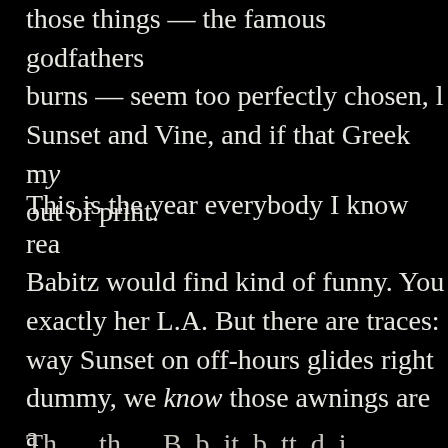those things — the famous godfathers burns — seem too perfectly chosen, Sunset and Vine, and if that Greek my out of print.
This is the year everybody I know rea Babitz would find kind of funny. You exactly her L.A. But there are traces: way Sunset on off-hours glides right dummy, we know those awnings are a remarkable thing is that all of this is funny and sparse, and which lets all t She tricks you into thinking a nearly watching a bird fly, or listening to Bl
Th th B b it b tt d i